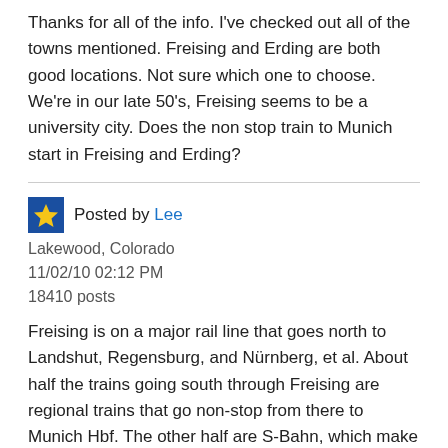Thanks for all of the info. I've checked out all of the towns mentioned. Freising and Erding are both good locations. Not sure which one to choose. We're in our late 50's, Freising seems to be a university city. Does the non stop train to Munich start in Freising and Erding?
Posted by Lee
Lakewood, Colorado
11/02/10 02:12 PM
18410 posts
Freising is on a major rail line that goes north to Landshut, Regensburg, and Nürnberg, et al. About half the trains going south through Freising are regional trains that go non-stop from there to Munich Hbf. The other half are S-Bahn, which make frequent stops into Munich and take longer. Erding is on an S-Bahn line. There are only S-Bahn from there and they make a lot of stops. You can get off in Markt Schwaben and take a regional